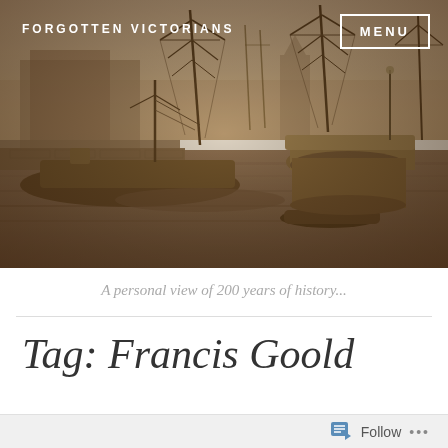[Figure (photo): Sepia-toned historical photograph of a Victorian harbor scene with tall-masted sailing ships moored at a stone dock, with buildings visible in the background.]
FORGOTTEN VICTORIANS
MENU
A personal view of 200 years of history...
Tag: Francis Goold
Follow ...